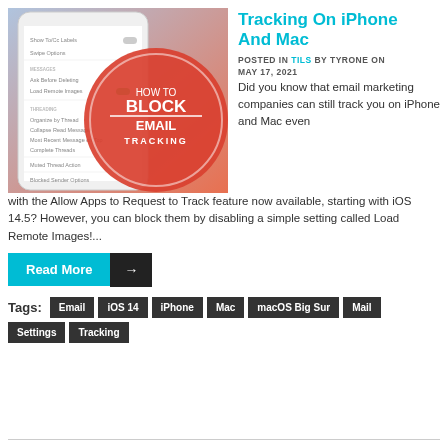[Figure (illustration): Thumbnail image showing an iPhone settings screen with a red circular overlay reading HOW TO BLOCK EMAIL TRACKING in white bold text]
Tracking On iPhone And Mac
POSTED IN TILS BY TYRONE ON MAY 17, 2021
Did you know that email marketing companies can still track you on iPhone and Mac even with the Allow Apps to Request to Track feature now available, starting with iOS 14.5? However, you can block them by disabling a simple setting called Load Remote Images!...
Read More →
Tags: Email iOS 14 iPhone Mac macOS Big Sur Mail Settings Tracking